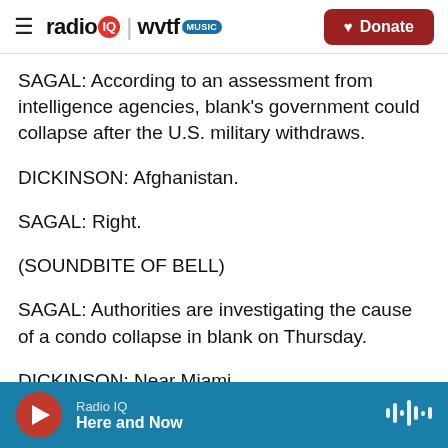radio IQ | wvtf MUSIC  —  Donate
SAGAL: According to an assessment from intelligence agencies, blank's government could collapse after the U.S. military withdraws.
DICKINSON: Afghanistan.
SAGAL: Right.
(SOUNDBITE OF BELL)
SAGAL: Authorities are investigating the cause of a condo collapse in blank on Thursday.
DICKINSON: Near Miami.
Radio IQ — Here and Now